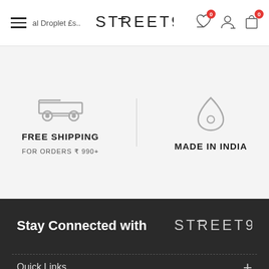STREET9 navigation header with hamburger menu, logo, wishlist (0), account, and cart (0) icons
FREE SHIPPING
FOR ORDERS ₹ 990+
MADE IN INDIA
Stay Connected with STREET9
Quick Links
Extras